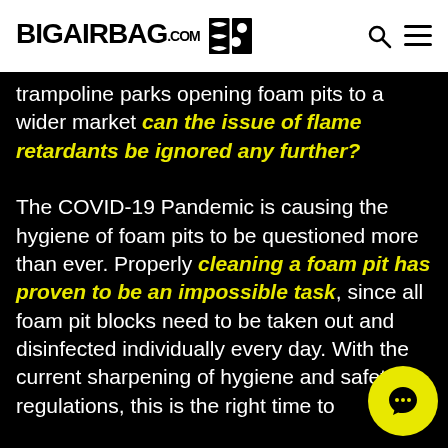BIGAIRBAG.COM
trampoline parks opening foam pits to a wider market can the issue of flame retardants be ignored any further? The COVID-19 Pandemic is causing the hygiene of foam pits to be questioned more than ever. Properly cleaning a foam pit has proven to be an impossible task, since all foam pit blocks need to be taken out and disinfected individually every day. With the current sharpening of hygiene and safety regulations, this is the right time to